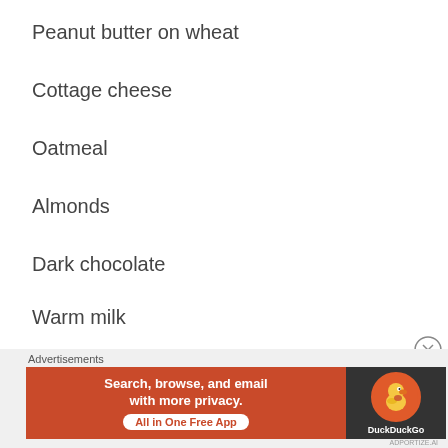Peanut butter on wheat
Cottage cheese
Oatmeal
Almonds
Dark chocolate
Warm milk
🤓 Create a relaxing surroundings:
Using natural essentials oil:
[Figure (other): DuckDuckGo advertisement banner with orange background, text 'Search, browse, and email with more privacy. All in One Free App', and DuckDuckGo duck logo on dark background]
Advertisements